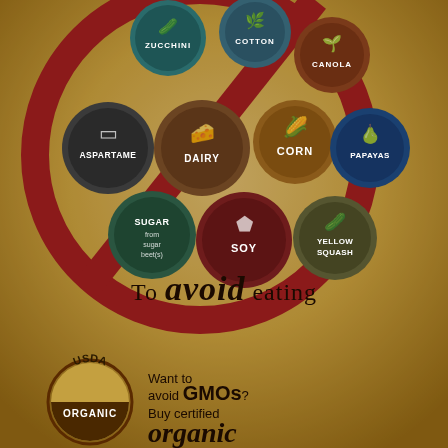[Figure (infographic): A prohibition/no symbol (red circle with diagonal bar) containing 9 food circles labeled: Zucchini, Cotton, Canola, Aspartame, Dairy, Corn, Papayas, Sugar (from sugar beets), Soy, Yellow Squash. Each food item is shown in a colored circle with an icon and label. The infographic is titled 'To avoid eating' and promotes buying USDA Organic to avoid GMOs.]
To avoid eating
Want to avoid GMOs? Buy certified organic